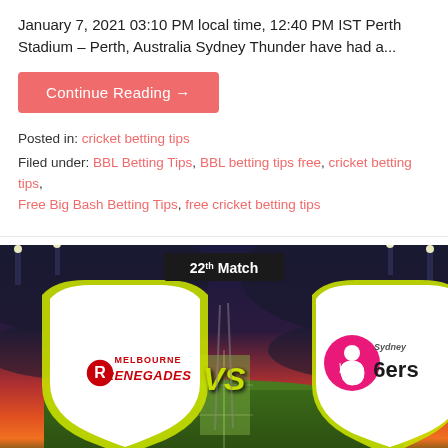January 7, 2021 03:10 PM local time, 12:40 PM IST Perth Stadium – Perth, Australia Sydney Thunder have had a...
Continue Reading →
Posted in: cricket betting tips
Filed under: BBL Betting Tips, BBL betting tips free, cricket betting tips, Free Big Bash Betting Tips, free cricket betting tips
[Figure (photo): 22th Match: Melbourne Renegades vs Sydney Sixers promotional image with stadium background, team logos in shield shapes, and VS text in center]